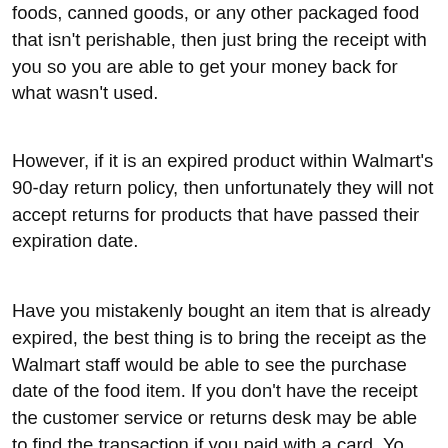foods, canned goods, or any other packaged food that isn't perishable, then just bring the receipt with you so you are able to get your money back for what wasn't used.
However, if it is an expired product within Walmart's 90-day return policy, then unfortunately they will not accept returns for products that have passed their expiration date.
Have you mistakenly bought an item that is already expired, the best thing is to bring the receipt as the Walmart staff would be able to see the purchase date of the food item. If you don't have the receipt the customer service or returns desk may be able to find the transaction if you paid with a card. Yo...